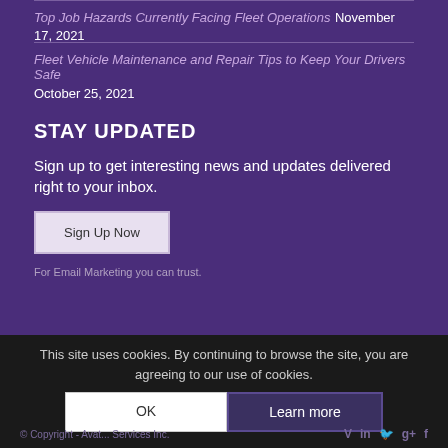Top Job Hazards Currently Facing Fleet Operations  November 17, 2021
Fleet Vehicle Maintenance and Repair Tips to Keep Your Drivers Safe  October 25, 2021
STAY UPDATED
Sign up to get interesting news and updates delivered right to your inbox.
Sign Up Now
For Email Marketing you can trust.
This site uses cookies. By continuing to browse the site, you are agreeing to our use of cookies.  OK  Learn more  © Copyright - Avatar... Services Inc.